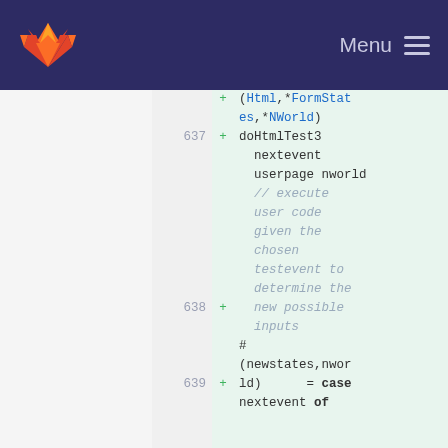GitLab — Menu
[Figure (screenshot): GitLab code diff view showing lines 637-639 of a source file with green highlighted additions. Code shows Haskell/functional code including doHtmlTest3, nextevent, userpage nworld, a comment block, and case expression.]